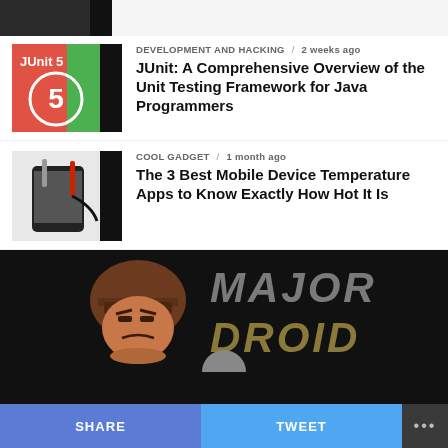[Figure (photo): Partial thumbnail of a dark article image at the top]
[Figure (illustration): JUnit 5 logo — red and green split background with large number 5 in a circle and 'JUnit 5' text]
DEVELOPMENT AND HACKING / 2 weeks ago
JUnit: A Comprehensive Overview of the Unit Testing Framework for Java Programmers
[Figure (photo): Mobile phone with temperature probe accessories on dark background]
COOL GADGET / 1 month ago
The 3 Best Mobile Device Temperature Apps to Know Exactly How Hot It Is
[Figure (logo): Major Droid logo — soldier cartoon mascot with 'MD' on helmet next to 'MAJOR DROID' text in military stencil font on black background]
SHARE   TWEET   ...